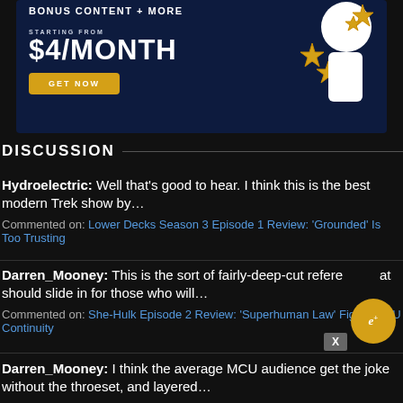[Figure (infographic): Advertisement banner with dark navy background showing 'BONUS CONTENT + MORE', 'STARTING FROM $4/MONTH', a gold 'GET NOW' button, and an illustrated character with gold stars on the right side.]
DISCUSSION
Hydroelectric: Well that's good to hear. I think this is the best modern Trek show by...
Commented on: Lower Decks Season 3 Episode 1 Review: 'Grounded' Is Too Trusting
Darren_Mooney: This is the sort of fairly-deep-cut reference that should slide in for those who will...
Commented on: She-Hulk Episode 2 Review: 'Superhuman Law' Fights MCU Continuity
Darren_Mooney: I think the average MCU audience get the joke without the throeset, and layered...